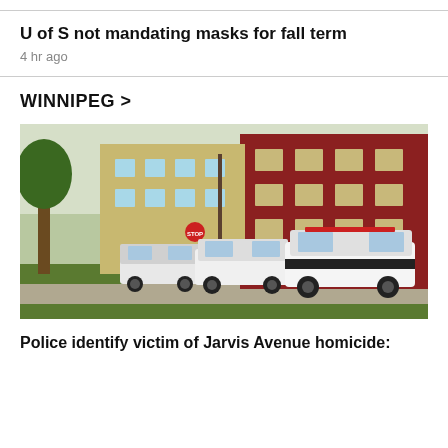U of S not mandating masks for fall term
4 hr ago
WINNIPEG >
[Figure (photo): Multiple police cars parked on a street beside a red brick building and a green tree. A police car with 'POLICE' written on it is prominently visible in the foreground.]
Police identify victim of Jarvis Avenue homicide: